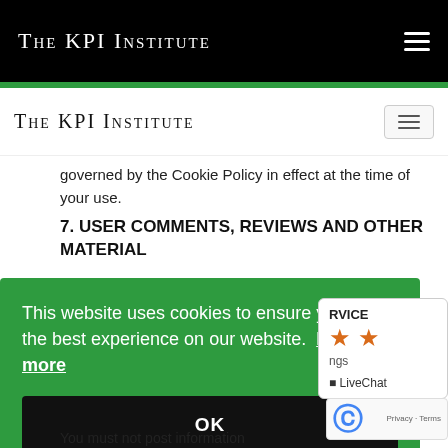The KPI Institute
governed by the Cookie Policy in effect at the time of your use.
7. USER COMMENTS, REVIEWS AND OTHER MATERIAL
This website uses cookies to ensure you get the best experience on our website.  Learn more
OK
RVICE
ngs
LiveChat
Privacy · Terms
You must not post information that (s) is not suitable for